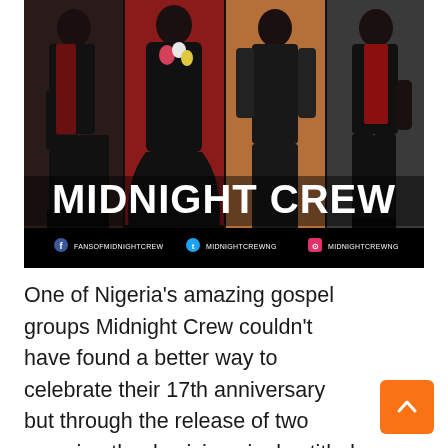[Figure (photo): Promotional photo of Nigerian gospel group Midnight Crew. Four members posed in separate panels with dark backgrounds (black, red, tan, dark gray). Members dressed in black attire with red/patterned accents. White text overlay reads 'MIDNIGHT CREW'. Black bar at bottom shows social media handles: FANSOFMIDNIGHTCREW (Facebook), MIDNIGHTCREWNG (Twitter), MIDNIGHTCREWNG (Instagram).]
One of Nigeria's amazing gospel groups Midnight Crew couldn't have found a better way to celebrate their 17th anniversary but through the release of two amazing thanksgiving singles titled 'Good God' and